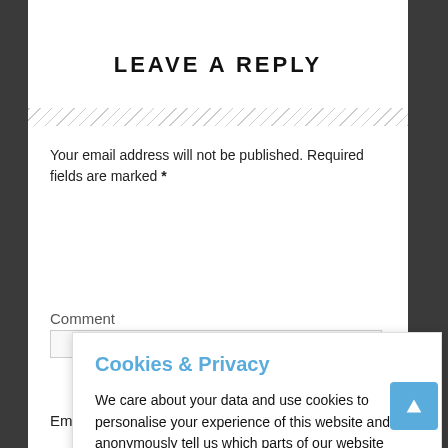LEAVE A REPLY
Your email address will not be published. Required fields are marked *
Comment
Cookies & Privacy
We care about your data and use cookies to personalise your experience of this website and to anonymously tell us which parts of our website people have visited. More information
Accept Cookies
Customise Cookies
Email *